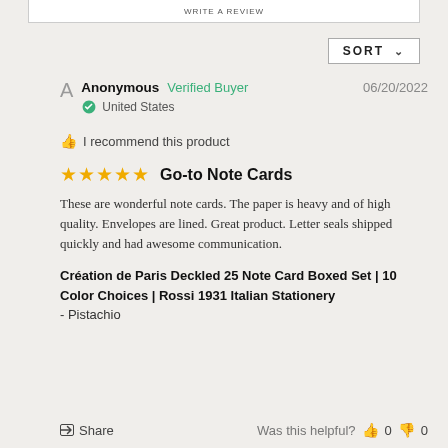WRITE A REVIEW
SORT ∨
Anonymous  Verified Buyer  06/20/2022
United States
I recommend this product
★★★★★  Go-to Note Cards
These are wonderful note cards. The paper is heavy and of high quality. Envelopes are lined. Great product. Letter seals shipped quickly and had awesome communication.
Création de Paris Deckled 25 Note Card Boxed Set | 10 Color Choices | Rossi 1931 Italian Stationery
- Pistachio
Share   Was this helpful?  👍 0  👎 0